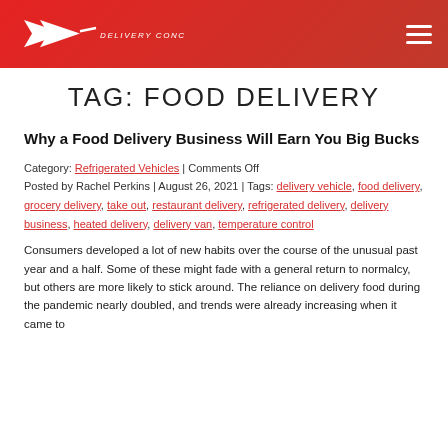Delivery Concepts, Inc. — navigation header with logo and hamburger menu
TAG: FOOD DELIVERY
Why a Food Delivery Business Will Earn You Big Bucks
Category: Refrigerated Vehicles | Comments Off
Posted by Rachel Perkins | August 26, 2021 | Tags: delivery vehicle, food delivery, grocery delivery, take out, restaurant delivery, refrigerated delivery, delivery business, heated delivery, delivery van, temperature control
Consumers developed a lot of new habits over the course of the unusual past year and a half. Some of these might fade with a general return to normalcy, but others are more likely to stick around. The reliance on delivery food during the pandemic nearly doubled, and trends were already increasing when it came to